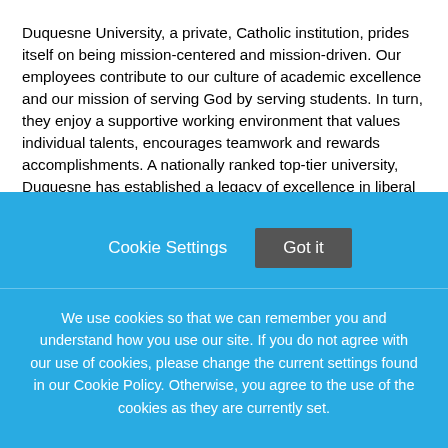Duquesne University, a private, Catholic institution, prides itself on being mission-centered and mission-driven. Our employees contribute to our culture of academic excellence and our mission of serving God by serving students. In turn, they enjoy a supportive working environment that values individual talents, encourages teamwork and rewards accomplishments. A nationally ranked top-tier university, Duquesne has established a legacy of excellence in liberal and professional education. Our 14:1 student-faculty ratio allows our students to work closely with expert faculty. Duquesne has also won accolades and recognition among the nation's top 20 small research schools for our research initiatives and faculty productivity. Situated on a 50-acre campus within the city, Duquesne provides a small-town feel in an urban setting. The Pittsburgh region offers a variety of cultural, education and professional opportunities, as well as a safe and affordable lifestyle. We strive to attract, recruit and retain a dynamic, diverse workforce. Our employees
Cookie Settings    Got it
We use cookies so that we can remember you and understand how you use our site. If you do not agree with our use of cookies, please change the current settings found in our Cookie Policy. Otherwise, you agree to the use of the cookies as they are currently set.